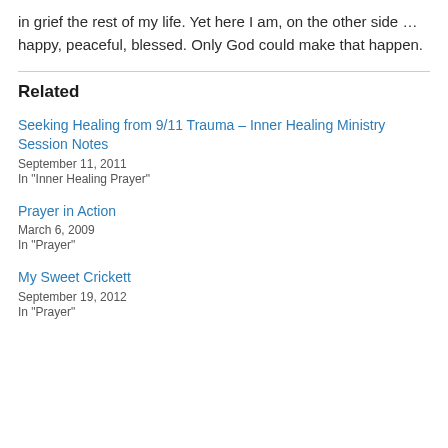in grief the rest of my life. Yet here I am, on the other side … happy, peaceful, blessed. Only God could make that happen.
Related
Seeking Healing from 9/11 Trauma – Inner Healing Ministry Session Notes
September 11, 2011
In "Inner Healing Prayer"
Prayer in Action
March 6, 2009
In "Prayer"
My Sweet Crickett
September 19, 2012
In "Prayer"